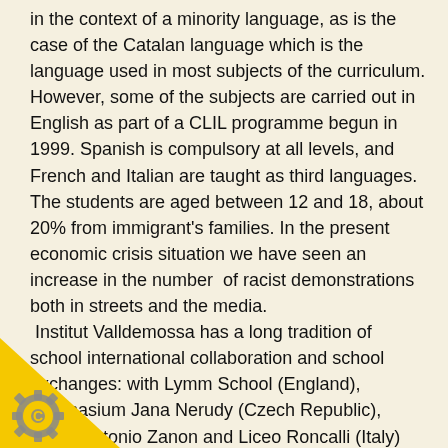in the context of a minority language, as is the case of the Catalan language which is the language used in most subjects of the curriculum. However, some of the subjects are carried out in English as part of a CLIL programme begun in 1999. Spanish is compulsory at all levels, and French and Italian are taught as third languages. The students are aged between 12 and 18, about 20% from immigrant's families. In the present economic crisis situation we have seen an increase in the number of racist demonstrations both in streets and the media.
Institut Valldemossa has a long tradition of school international collaboration and school exchanges: with Lymm School (England), Gymnasium Jana Nerudy (Czech Republic), Istituto Antonio Zanon and Liceo Roncalli (Italy) and the Lycée Saint (France).